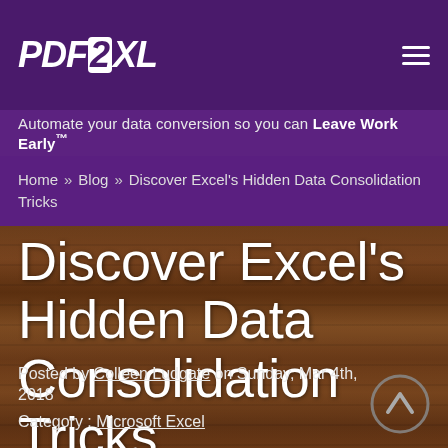PDF2XL
Automate your data conversion so you can Leave Work Early™
Home » Blog » Discover Excel's Hidden Data Consolidation Tricks
Discover Excel's Hidden Data Consolidation Tricks
Posted by Colleen Ludgate on Sunday, Mar 4th, 2018
Category : Microsoft Excel